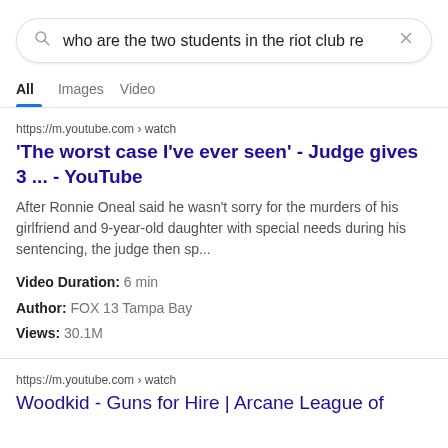[Figure (screenshot): Google search bar with query: who are the two students in the riot club re]
All   Images   Video
https://m.youtube.com › watch
'The worst case I've ever seen' - Judge gives 3 ... - YouTube
After Ronnie Oneal said he wasn't sorry for the murders of his girlfriend and 9-year-old daughter with special needs during his sentencing, the judge then sp...
Video Duration: 6 min
Author: FOX 13 Tampa Bay
Views: 30.1M
https://m.youtube.com › watch
Woodkid - Guns for Hire | Arcane League of